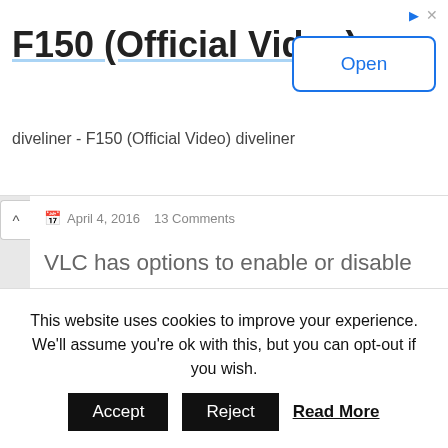[Figure (screenshot): Advertisement banner for 'F150 (Official Video)' with an Open button and close/redirect icons.]
F150 (Official Video)
diveliner - F150 (Official Video) diveliner
April 4, 2016    13 Comments
VLC has options to enable or disable the player icon in the Windows System Tray as well as Task Bar. These options enables the configuration of how the shortcuts appear in those desktop user interfaces. You will see the options in effect when you minimize the player.
This website uses cookies to improve your experience. We'll assume you're ok with this, but you can opt-out if you wish.
Accept   Reject   Read More